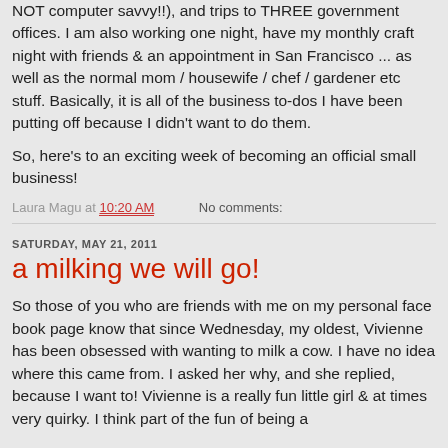NOT computer savvy!!), and trips to THREE government offices.  I am also working one night, have my monthly craft night with friends & an appointment in San Francisco ... as well as the normal mom / housewife / chef / gardener etc stuff.  Basically, it is all of the business to-dos I have been putting off because I didn't want to do them.
So, here's to an exciting week of becoming an official small business!
Laura Magu at 10:20 AM    No comments:
SATURDAY, MAY 21, 2011
a milking we will go!
So those of you who are friends with me on my personal face book page know that since Wednesday, my oldest, Vivienne has been obsessed with wanting to milk a cow.  I have no idea where this came from.  I asked her why, and she replied, because I want to!  Vivienne is a really fun little girl & at times very quirky.  I think part of the fun of being a